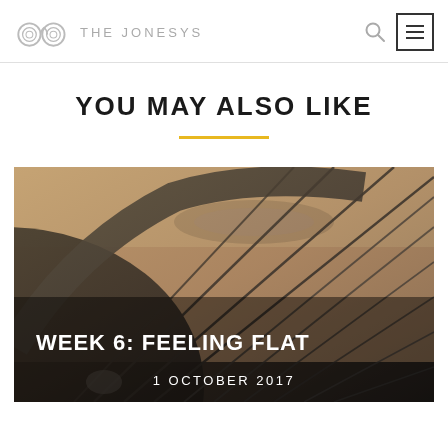THE JONESYS
YOU MAY ALSO LIKE
[Figure (photo): Close-up photo of a bicycle wheel with spokes and rim, showing gravel/dirt ground in background. Overlaid with text 'WEEK 6: FEELING FLAT' and '1 OCTOBER 2017'.]
WEEK 6: FEELING FLAT — 1 OCTOBER 2017